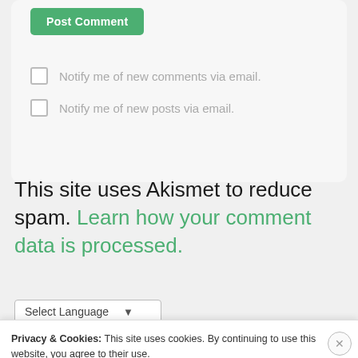[Figure (screenshot): Partially visible green Post Comment button at the top of a comment form card]
Notify me of new comments via email.
Notify me of new posts via email.
This site uses Akismet to reduce spam. Learn how your comment data is processed.
[Figure (screenshot): Select Language dropdown widget]
Privacy & Cookies: This site uses cookies. By continuing to use this website, you agree to their use.
To find out more, including how to control cookies, see here: Cookie Policy
Close and accept